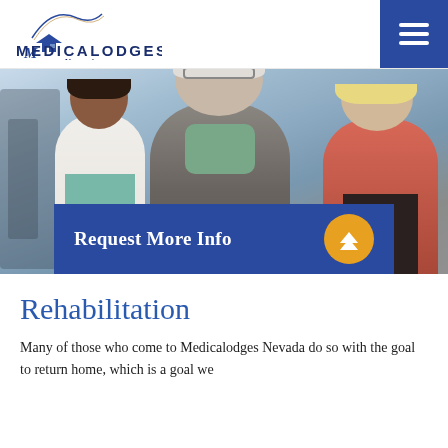[Figure (logo): Medicalodges Nevada logo with stylized M graphic and text]
[Figure (photo): Photo of a smiling elderly man being supported by a female healthcare worker in white coat on the left and a female companion in pink on the right, in a rehabilitation/gym setting]
Request More Info
Rehabilitation
Many of those who come to Medicalodges Nevada do so with the goal to return home, which is a goal we